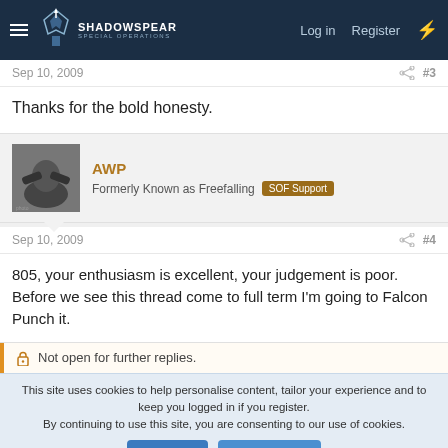SHADOWSPEAR Special Operations | Log in | Register
Sep 10, 2009 #3
Thanks for the bold honesty.
AWP — Formerly Known as Freefalling — SOF Support
Sep 10, 2009 #4
805, your enthusiasm is excellent, your judgement is poor. Before we see this thread come to full term I'm going to Falcon Punch it.
Not open for further replies.
This site uses cookies to help personalise content, tailor your experience and to keep you logged in if you register. By continuing to use this site, you are consenting to our use of cookies.